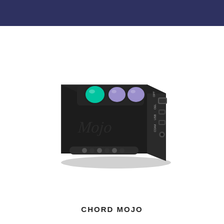[Figure (photo): Chord Mojo portable DAC/amplifier device, black rectangular body with three illuminated spherical buttons on top (one teal/green, two purple/lavender), side panel showing OPT, OEL, USB, and COAX ports, 'Mojo' script logo on front face, headphone output on bottom.]
CHORD MOJO